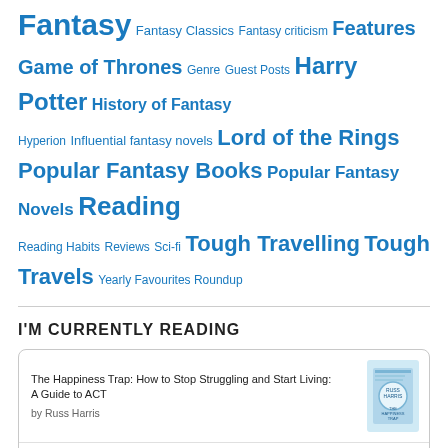Fantasy  Fantasy Classics  Fantasy criticism  Features  Game of Thrones  Genre  Guest Posts  Harry Potter  History of Fantasy  Hyperion  Influential fantasy novels  Lord of the Rings  Popular Fantasy Books  Popular Fantasy Novels  Reading  Reading Habits  Reviews  Sci-fi  Tough Travelling  Tough Travels  Yearly Favourites Roundup
I'M CURRENTLY READING
The Happiness Trap: How to Stop Struggling and Start Living: A Guide to ACT
by Russ Harris
Kings of the Wyld
by Nicholas Eames